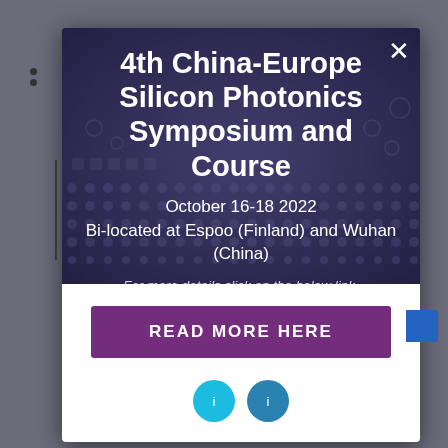4th China-Europe Silicon Photonics Symposium and Course
October 16-18 2022
Bi-located at Espoo (Finland) and Wuhan (China)
For more details click on the below link.
READ MORE HERE